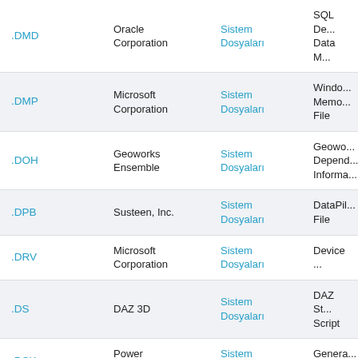| Extension | Developer | Category | Description |
| --- | --- | --- | --- |
| .DMD | Oracle Corporation | Sistem Dosyaları | SQL De... Data M... |
| .DMP | Microsoft Corporation | Sistem Dosyaları | Windo... Memo... File |
| .DOH | Geoworks Ensemble | Sistem Dosyaları | Geowo... Depend... Informa... |
| .DPB | Susteen, Inc. | Sistem Dosyaları | DataPil... File |
| .DRV | Microsoft Corporation | Sistem Dosyaları | Device ... |
| .DS | DAZ 3D | Sistem Dosyaları | DAZ St... Script |
| .DSK | Power Software Ltd | Sistem Dosyaları | Genera... Image |